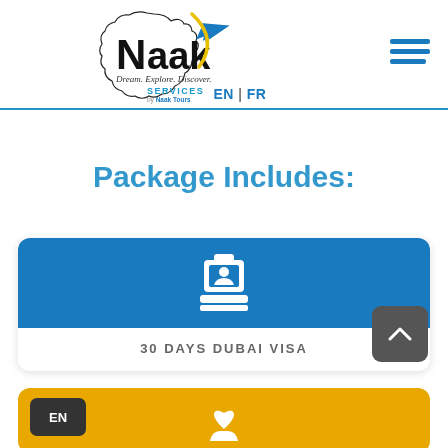[Figure (logo): Naak Services logo with airplane and Africa map silhouette, tagline 'Dream. Explore. Discover. by Naak Tours']
EN | FR
Package Includes:
[Figure (infographic): Blue card with stamp/visa icon on top, text '30 DAYS DUBAI VISA' on white bottom]
[Figure (infographic): Yellow card with heart/hand icon, partially visible at bottom]